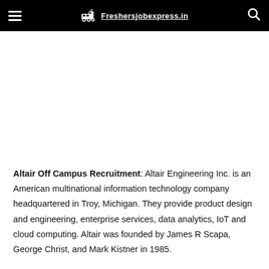Freshersjobexpress.in
Altair Off Campus Recruitment: Altair Engineering Inc. is an American multinational information technology company headquartered in Troy, Michigan. They provide product design and engineering, enterprise services, data analytics, IoT and cloud computing. Altair was founded by James R Scapa, George Christ, and Mark Kistner in 1985.